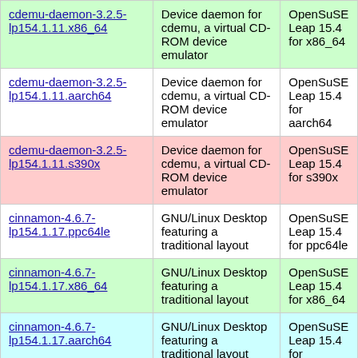| Package | Description | Distribution |
| --- | --- | --- |
| cdemu-daemon-3.2.5-lp154.1.11.x86_64 | Device daemon for cdemu, a virtual CD-ROM device emulator | OpenSuSE Leap 15.4 for x86_64 |
| cdemu-daemon-3.2.5-lp154.1.11.aarch64 | Device daemon for cdemu, a virtual CD-ROM device emulator | OpenSuSE Leap 15.4 for aarch64 |
| cdemu-daemon-3.2.5-lp154.1.11.s390x | Device daemon for cdemu, a virtual CD-ROM device emulator | OpenSuSE Leap 15.4 for s390x |
| cinnamon-4.6.7-lp154.1.17.ppc64le | GNU/Linux Desktop featuring a traditional layout | OpenSuSE Leap 15.4 for ppc64le |
| cinnamon-4.6.7-lp154.1.17.x86_64 | GNU/Linux Desktop featuring a traditional layout | OpenSuSE Leap 15.4 for x86_64 |
| cinnamon-4.6.7-lp154.1.17.aarch64 | GNU/Linux Desktop featuring a traditional layout | OpenSuSE Leap 15.4 for aarch64 |
| cinnamon-4.6.7- | GNU/Linux Desktop featuring a traditional layout | OpenSuSE Leap 15.4 |